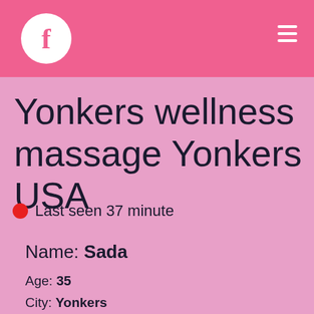f [Facebook logo] ☰
Yonkers wellness massage Yonkers USA
Last seen 37 minute
Name: Sada
Age: 35
City: Yonkers
Hair: Long with tendrils
Relation Type: Wife Looking Horney Pussy
Seeking: I Wanting Sexy Meeting
Relationship Status: Never Married